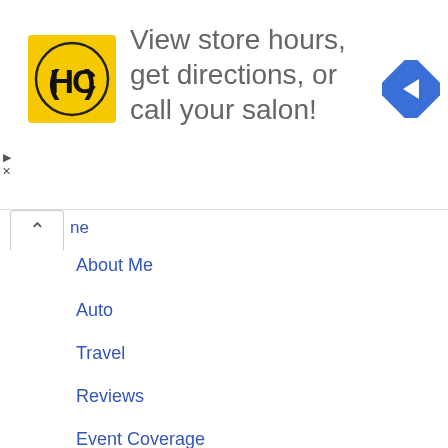[Figure (advertisement): Advertisement banner with HC (Haircut) logo in yellow square, text 'View store hours, get directions, or call your salon!', and a blue diamond navigation arrow icon.]
ne
About Me
Auto
Travel
Reviews
Event Coverage
Print media
Name
Email
Message